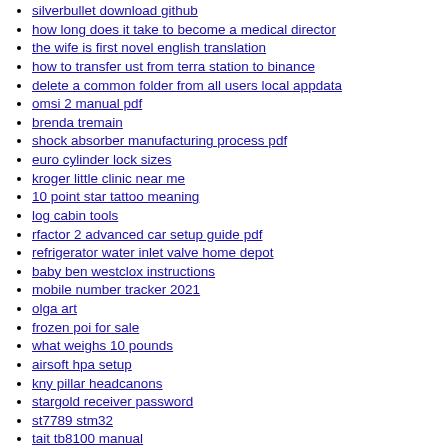silverbullet download github
how long does it take to become a medical director
the wife is first novel english translation
how to transfer ust from terra station to binance
delete a common folder from all users local appdata
omsi 2 manual pdf
brenda tremain
shock absorber manufacturing process pdf
euro cylinder lock sizes
kroger little clinic near me
10 point star tattoo meaning
log cabin tools
rfactor 2 advanced car setup guide pdf
refrigerator water inlet valve home depot
baby ben westclox instructions
mobile number tracker 2021
olga art
frozen poi for sale
what weighs 10 pounds
airsoft hpa setup
kny pillar headcanons
stargold receiver password
st7789 stm32
tait tb8100 manual
soxl buy or sell